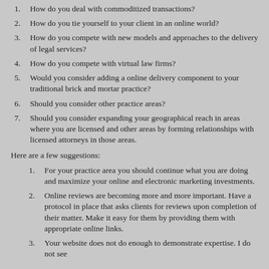How do you deal with commoditized transactions?
How do you tie yourself to your client in an online world?
How do you compete with new models and approaches to the delivery of legal services?
How do you compete with virtual law firms?
Would you consider adding a online delivery component to your traditional brick and mortar practice?
Should you consider other practice areas?
Should you consider expanding your geographical reach in areas where you are licensed and other areas by forming relationships with licensed attorneys in those areas.
Here are a few suggestions:
For your practice area you should continue what you are doing and maximize your online and electronic marketing investments.
Online reviews are becoming more and more important. Have a protocol in place that asks clients for reviews upon completion of their matter. Make it easy for them by providing them with appropriate online links.
Your website does not do enough to demonstrate expertise. I do not see